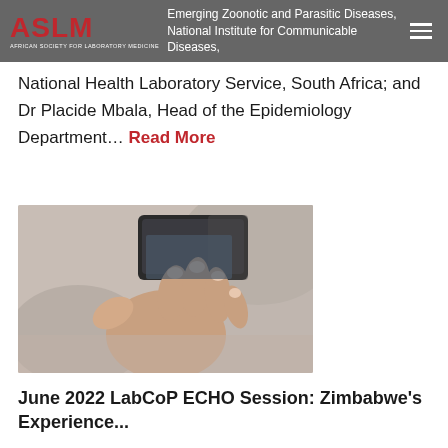ASLM — AFRICAN SOCIETY FOR LABORATORY MEDICINE | Emerging Zoonotic and Parasitic Diseases, National Institute for Communicable Diseases, National Health Laboratory Service, South Africa; and Dr Placide Mbala, Head of the Epidemiology Department… Read More
National Health Laboratory Service, South Africa; and Dr Placide Mbala, Head of the Epidemiology Department… Read More
[Figure (photo): Close-up photo of a person's hand holding a smartphone, with blurred background.]
June 2022 LabCoP ECHO Session: Zimbabwe's Experience...